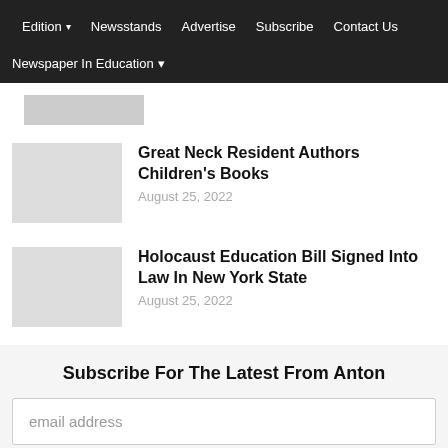Edition ▾   Newsstands   Advertise   Subscribe   Contact Us   Newspaper In Education ▾
Great Neck Resident Authors Children's Books
August 25, 2022
Holocaust Education Bill Signed Into Law In New York State
August 25, 2022
Subscribe For The Latest From Anton
email address
Subscribe